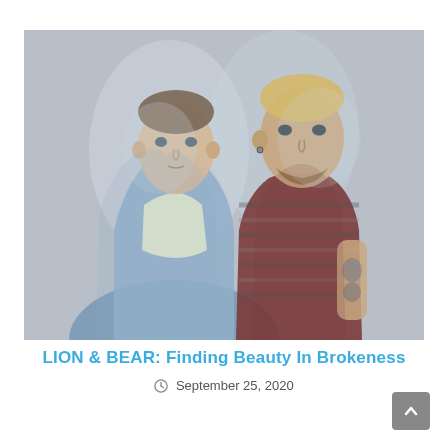[Figure (photo): Two young men standing side by side against a grey background. The image has a blurred/double-exposure effect. Left person has brown hair, wearing a white t-shirt and blue jacket. Right person has blonde hair, beard, wearing a dark red and grey striped t-shirt with tattoos on his arm.]
LION & BEAR: Finding Beauty In Brokeness
September 25, 2020